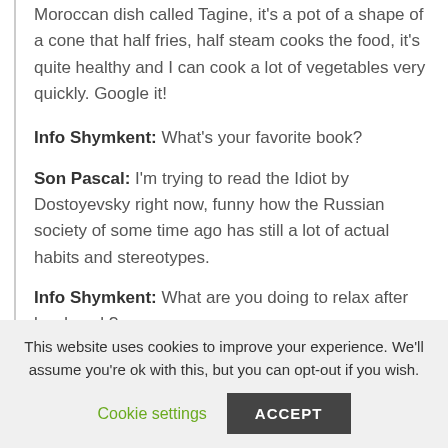Moroccan dish called Tagine, it's a pot of a shape of a cone that half fries, half steam cooks the food, it's quite healthy and I can cook a lot of vegetables very quickly. Google it!
Info Shymkent: What's your favorite book?
Son Pascal: I'm trying to read the Idiot by Dostoyevsky right now, funny how the Russian society of some time ago has still a lot of actual habits and stereotypes.
Info Shymkent: What are you doing to relax after hard work?
This website uses cookies to improve your experience. We'll assume you're ok with this, but you can opt-out if you wish.
Cookie settings
ACCEPT